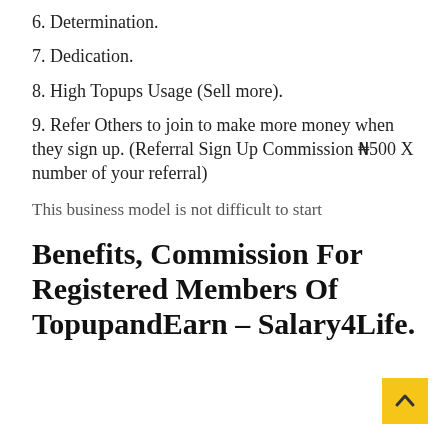6. Determination.
7. Dedication.
8. High Topups Usage (Sell more).
9. Refer Others to join to make more money when they sign up. (Referral Sign Up Commission ₦500 X number of your referral)
This business model is not difficult to start
Benefits, Commission For Registered Members Of TopupandEarn – Salary4Life.